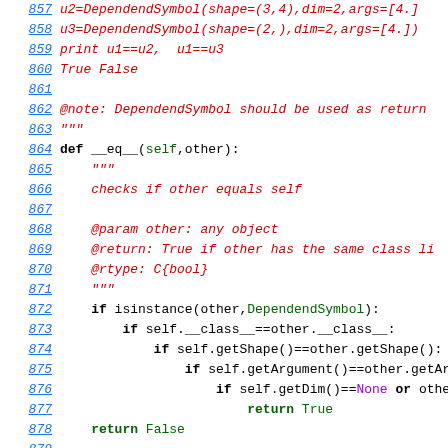Source code listing lines 857-879, Python code for DependendSymbol class methods including __eq__
857: u2=DependendSymbol(shape=(3,4),dim=2,args=[4.])
858: u3=DependendSymbol(shape=(2,),dim=2,args=[4.])
859: print u1==u2,  u1==u3
860: True False
861: (blank)
862: @note: DependendSymbol should be used as return
863: """
864: def __eq__(self,other):
865:     """
866:     checks if other equals self
867: (blank)
868:     @param other: any object
869:     @return: True if other has the same class li
870:     @rtype: C{bool}
871:     """
872:     if isinstance(other,DependendSymbol):
873:         if self.__class__==other.__class__:
874:             if self.getShape()==other.getShape():
875:                 if self.getArgument()==other.getArgu
876:                     if self.getDim()==None or other.g
877:                         return True
878:     return False
879: (partial)